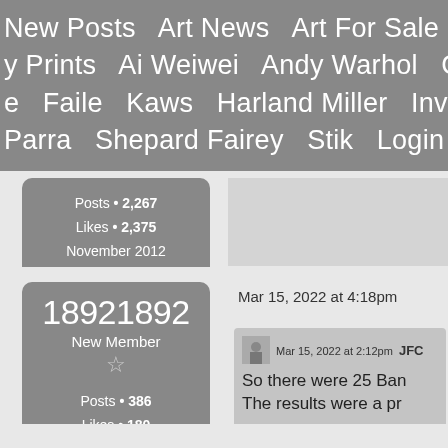New Posts   Art News   Art For Sale   Art A
y Prints   Ai Weiwei   Andy Warhol   Cleon
e   Faile   Kaws   Harland Miller   Invader
Parra   Shepard Fairey   Stik   Login   Reg
Posts • 2,267
Likes • 2,375
November 2012
18921892
New Member
☆
Posts • 386
Likes • 180
May 2020
Mar 15, 2022 at 4:18pm
Mar 15, 2022 at 2:12pm   JFC
So there were 25 Ban
The results were a pr